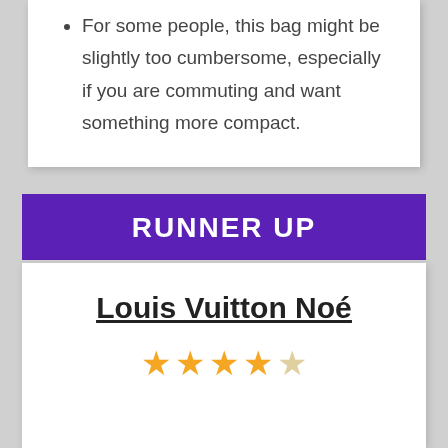For some people, this bag might be slightly too cumbersome, especially if you are commuting and want something more compact.
RUNNER UP
Louis Vuitton Noé
[Figure (other): 4 out of 5 star rating shown with filled gold stars and one empty star]